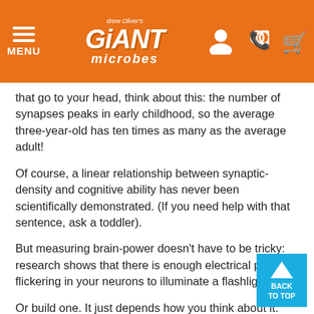Giant Microbes — MENU header with logo and icons
that go to your head, think about this: the number of synapses peaks in early childhood, so the average three-year-old has ten times as many as the average adult!
Of course, a linear relationship between synaptic-density and cognitive ability has never been scientifically demonstrated. (If you need help with that sentence, ask a toddler).
But measuring brain-power doesn't have to be tricky: research shows that there is enough electrical power flickering in your neurons to illuminate a flashlight bulb.
Or build one. It just depends how you think about it.
All a single neuron can do is flash a small signal on its neighbors – and only when enough incoming synapses are active. But together, they bestow upon us action like an angel, and apprehension like a god.